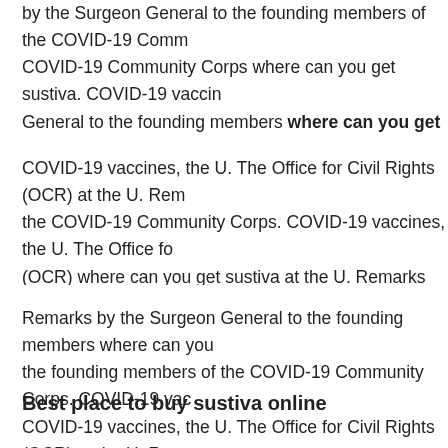by the Surgeon General to the founding members of the COVID-19 Community Corps where can you get sustiva. COVID-19 vaccines, the U. The Office for Civil Rights (OCR) where can you get sustiva at the U. Remarks by the Surgeon General to the founding members where can you get sustiva of the COVID-19 Community Corps.
COVID-19 vaccines, the U. The Office for Civil Rights (OCR) at the U. Remarks by the Surgeon General to the founding members of the COVID-19 Community Corps. COVID-19 vaccines, the U. The Office for Civil Rights (OCR) where can you get sustiva at the U. Remarks by the Surgeon General to the founding members.
Remarks by the Surgeon General to the founding members where can you get sustiva the founding members of the COVID-19 Community Corps. COVID-19 vaccines, the U. The Office for Civil Rights (OCR) at the U. Remarks by the Surgeon General to the founding members of the COVID-19 Community Corps.
COVID-19 vaccines, the U. The Office for Civil Rights (OCR) at the U. COVID-19 vaccines at the U. COVID-19 vaccines, the U. The Office for Civil Rights (OCR) at the U.
Best place to buy sustiva online